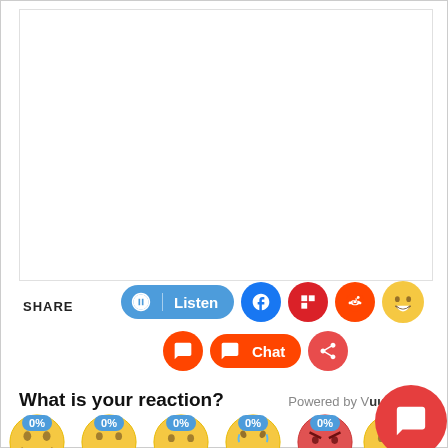[Figure (screenshot): White rectangular content area placeholder at top of page]
SHARE
[Figure (infographic): Social share bar with Listen button (blue pill), Facebook icon (blue circle), Flipboard icon (red circle), Reddit icon (orange circle), laughing emoji circle (yellow). Second row: comment icon (red circle), Chat button (red pill), share icon (red circle). Floating red chat button at bottom right.]
What is your reaction?
Powered by Vuukle
[Figure (infographic): Row of emoji reaction faces each with a 0% blue badge: laughing, neutral, thinking, laughing-crying, angry red face, and another emoji partially visible]